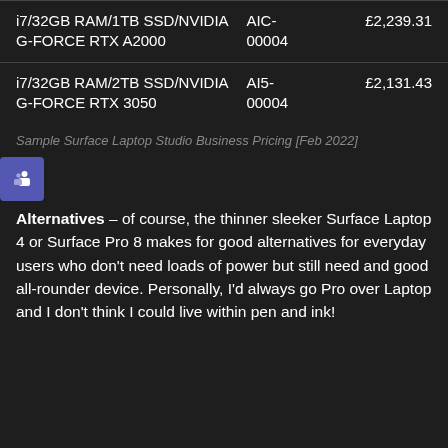| Description | Code | Price |
| --- | --- | --- |
| i7/32GB RAM/1TB SSD/NVIDIA G-FORCE RTX A2000 | AIC-00004 | £2,239.31 |
| i7/32GB RAM/2TB SSD/NVIDIA G-FORCE RTX 3050 | AI5-00004 | £2,131.43 |
Sample Surface Laptop Studio Business Pricing [Feb 2022]
[Figure (logo): Microsoft Teams icon - purple/blue square with white 'T' symbol]
Alternatives – of course, the thinner sleeker Surface Laptop 4 or Surface Pro 8 makes for good alternatives for everyday users who don't need loads of power but still need and good all-rounder device. Personally, I'd always go Pro over Laptop and I don't think I could live within pen and ink!